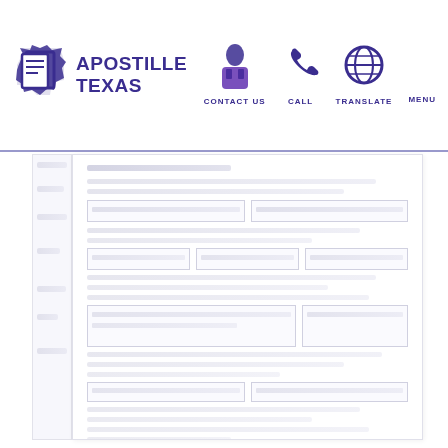[Figure (logo): Apostille Texas logo with Texas state map icon and stylized document icon in purple]
CONTACT US | CALL | TRANSLATE | MENU navigation bar for Apostille Texas website
[Figure (screenshot): Blurred/faded document page content below the navigation header, showing a form or legal document with multiple rows of text and form fields, too blurred to read individual text]